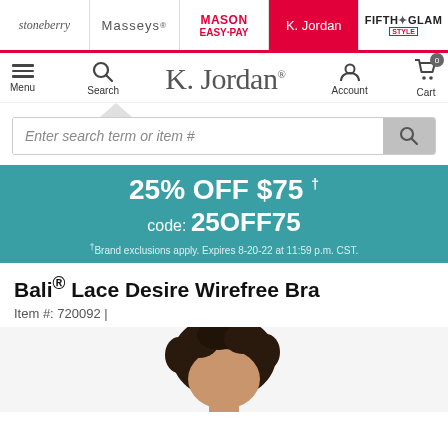stoneberry | Masseys | MASON EASY-PAY | K. Jordan | FIFTH GLAM
[Figure (screenshot): K.Jordan website navigation header with logo, menu, search, account and cart icons]
Enter search term or item #
[Figure (infographic): Teal promotional banner: 25% OFF $75 †, code: 25OFF75, †Brand exclusions apply. Expires 8-20-22 at 11:59 p.m. CST.]
Bali® Lace Desire Wirefree Bra
Item #: 720092 |
[Figure (photo): Bottom portion of a model's face with curly dark hair, product photograph]